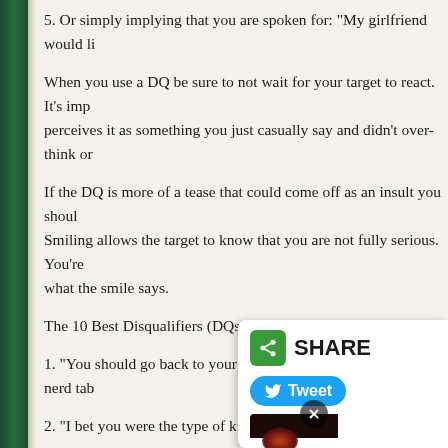5. Or simply implying that you are spoken for: “My girlfriend would li…
When you use a DQ be sure to not wait for your target to react. It’s imp… perceives it as something you just casually say and didn’t over-think or…
If the DQ is more of a tease that could come off as an insult you shoul… Smiling allows the target to know that you are not fully serious. You’re… what the smile says.
The 10 Best Disqualifiers (DQs):
1. “You should go back to your friends. I think the kids at the nerd tab…
2. “I bet you were the type of kid that always got sp…
3. “Note to self: Do not date this girl.” (pretend to…
4. “I bet there are tons of guys waiting to meet yo…
5. “I don’t let women like you into my house with…
6. “You are so bad at being pretty.”
[Figure (screenshot): Share overlay with green share icon, SHARE label, Tweet button in blue, and a dark thumbnail image with an X button]